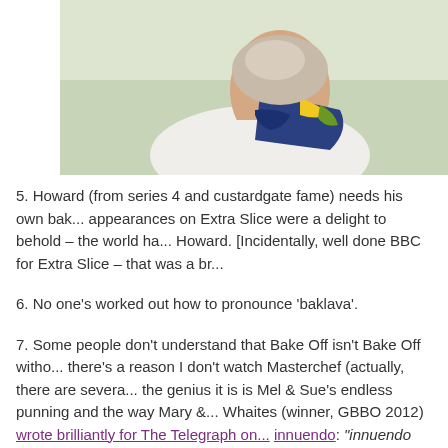[Figure (photo): Partial photo of a woman wearing a white jacket and a blue, yellow, and green patterned scarf, cropped at the top of the page]
5. Howard (from series 4 and custardgate fame) needs his own bak... appearances on Extra Slice were a delight to behold – the world ha... Howard. [Incidentally, well done BBC for Extra Slice – that was a br...
6. No one's worked out how to pronounce 'baklava'.
7. Some people don't understand that Bake Off isn't Bake Off witho... there's a reason I don't watch Masterchef (actually, there are severa... the genius it is is Mel & Sue's endless punning and the way Mary &... Whaites (winner, GBBO 2012) wrote brilliantly for The Telegraph on... innuendo: "innuendo only enters the level of lewd when it is endorse... point of the baking double entendres is that they're not deemed wo...
8. Doughnuts can be turned into cocktails. (And this is when all Mar... true.)